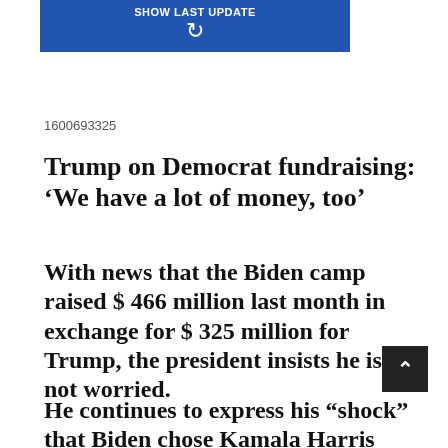[Figure (screenshot): Blue button bar with 'SHOW LAST UPDATE' label and a refresh icon]
1600693325
Trump on Democrat fundraising: ‘We have a lot of money, too’
With news that the Biden camp raised $ 466 million last month in exchange for $ 325 million for Trump, the president insists he is not worried.
He continues to express his “shock” that Biden chose Kamala Harris